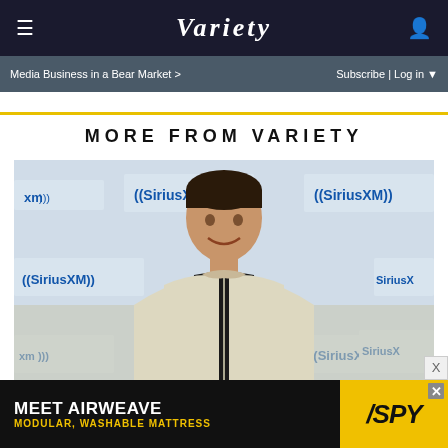VARIETY
Media Business in a Bear Market >    Subscribe | Log in
MORE FROM VARIETY
[Figure (photo): Man in a cream zip-up sweater smiling in front of a SiriusXM branded backdrop]
[Figure (screenshot): Advertisement: MEET AIRWEAVE MODULAR, WASHABLE MATTRESS with SPY logo on yellow background]